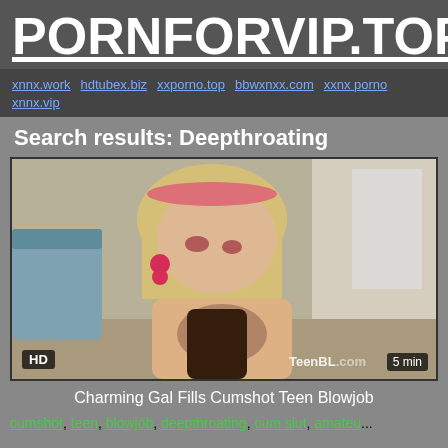PORNFORVIP.TOP
xnnx.work hdtubex.biz xxporno.top bbwxnxx.com xxnx porno xnnx.vip
Search results: Deepthroating
[Figure (photo): Video thumbnail showing adult content with HD badge, TeenBL watermark, and 5 min duration badge]
Charming Gal Fills Cumshot Teen Blowjob
cumshot, teen, blowjob, deepthroating, cum slut, amateu...